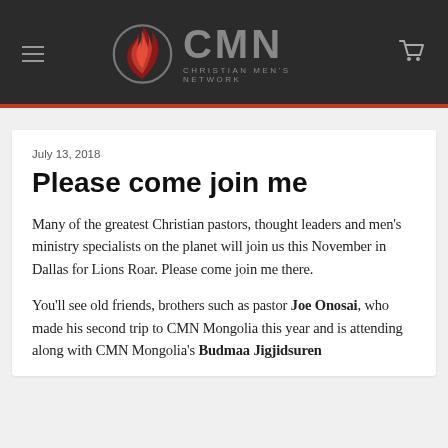CMN CHRISTIAN MEN'S NETWORK
July 13, 2018
Please come join me
Many of the greatest Christian pastors, thought leaders and men’s ministry specialists on the planet will join us this November in Dallas for Lions Roar. Please come join me there.
You’ll see old friends, brothers such as pastor Joe Onosai, who made his second trip to CMN Mongolia this year and is attending along with CMN Mongolia’s Budmaa Jigjidsuren